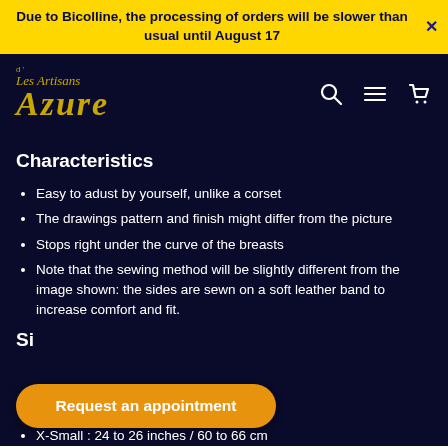Due to Bicolline, the processing of orders will be slower than usual until August 17
[Figure (logo): Les Artisans d'Azure logo with golden stylized lettering on dark navy background, with search, menu, and cart icons]
Characteristics
Easy to adust by yourself, unlike a corset
The drawings pattern and finish might differ from the picture
Stops right under the curve of the breasts
Note that the sewing method will be slightly different from the image shown: the sides are sewn on a soft leather band to increase comfort and fit.
Size / Maistre
X-Small : 24 to 26 inches / 60 to 66 cm